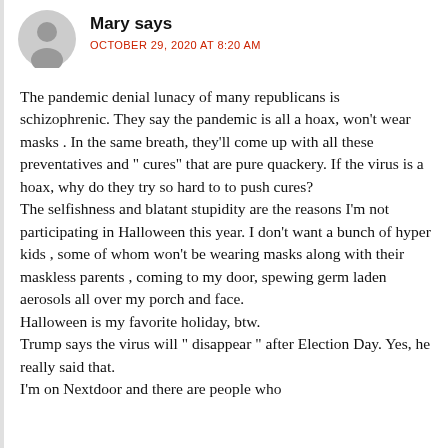[Figure (illustration): Generic gray avatar/silhouette icon of a person]
Mary says
OCTOBER 29, 2020 AT 8:20 AM
The pandemic denial lunacy of many republicans is schizophrenic. They say the pandemic is all a hoax, won't wear masks . In the same breath, they'll come up with all these preventatives and “ cures” that are pure quackery. If the virus is a hoax, why do they try so hard to to push cures?
The selfishness and blatant stupidity are the reasons I'm not participating in Halloween this year. I don't want a bunch of hyper kids , some of whom won't be wearing masks along with their maskless parents , coming to my door, spewing germ laden aerosols all over my porch and face.
Halloween is my favorite holiday, btw.
Trump says the virus will “ disappear ” after Election Day. Yes, he really said that.
I'm on Nextdoor and there are people who